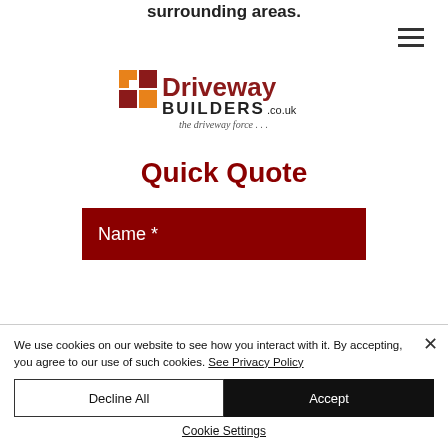surrounding areas.
[Figure (logo): Driveway Builders co.uk logo with orange/red grid squares and text 'the driveway force...']
Quick Quote
Name *
We use cookies on our website to see how you interact with it. By accepting, you agree to our use of such cookies. See Privacy Policy
Decline All
Accept
Cookie Settings